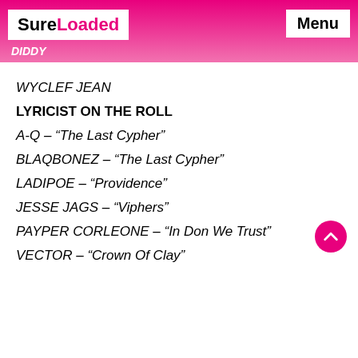SureLoaded | Menu
DIDDY
WYCLEF JEAN
LYRICIST ON THE ROLL
A-Q – “The Last Cypher”
BLAQBONEZ – “The Last Cypher”
LADIPOE – “Providence”
JESSE JAGS – “Viphers”
PAYPER CORLEONE – “In Don We Trust”
VECTOR – “Crown Of Clay”